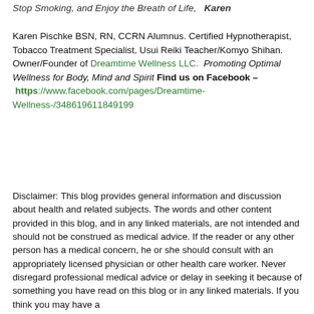Stop Smoking, and Enjoy the Breath of Life,   Karen
Karen Pischke BSN, RN, CCRN Alumnus. Certified Hypnotherapist, Tobacco Treatment Specialist, Usui Reiki Teacher/Komyo Shihan. Owner/Founder of Dreamtime Wellness LLC.  Promoting Optimal Wellness for Body, Mind and Spirit Find us on Facebook –
 https://www.facebook.com/pages/Dreamtime-Wellness-/348619611849199
Disclaimer: This blog provides general information and discussion about health and related subjects. The words and other content provided in this blog, and in any linked materials, are not intended and should not be construed as medical advice. If the reader or any other person has a medical concern, he or she should consult with an appropriately licensed physician or other health care worker. Never disregard professional medical advice or delay in seeking it because of something you have read on this blog or in any linked materials. If you think you may have a